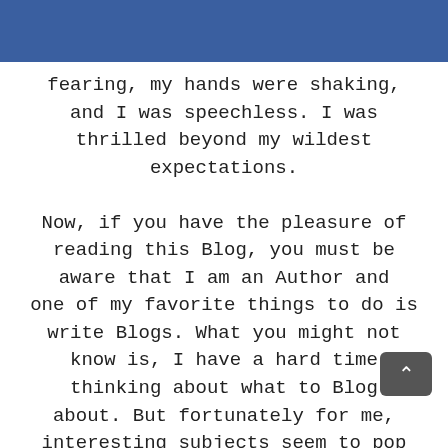fearing, my hands were shaking, and I was speechless. I was thrilled beyond my wildest expectations.

Now, if you have the pleasure of reading this Blog, you must be aware that I am an Author and one of my favorite things to do is write Blogs. What you might not know is, I have a hard time thinking about what to Blog about. But fortunately for me, interesting subjects seem to pop